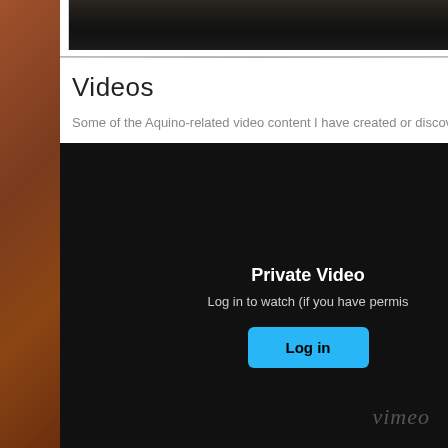[Figure (screenshot): Dark top image bar showing partial dark photo content]
Videos
Some of the Aquino-related video content I have created or discovered
[Figure (screenshot): Vimeo private video embed. Black background with 'Private Video' heading, 'Log in to watch (if you have permission)' text, a cyan Log in button, and Vimeo watermark logo at bottom right.]